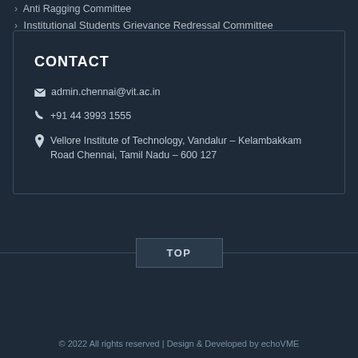Anti Ragging Committee
Institutional Students Grievance Redressal Committee
CONTACT
admin.chennai@vit.ac.in
+91 44 3993 1555
Vellore Institute of Technology, Vandalur – Kelambakkam Road Chennai, Tamil Nadu – 600 127
TOP
© 2022 All rights reserved | Design & Developed by echoVME